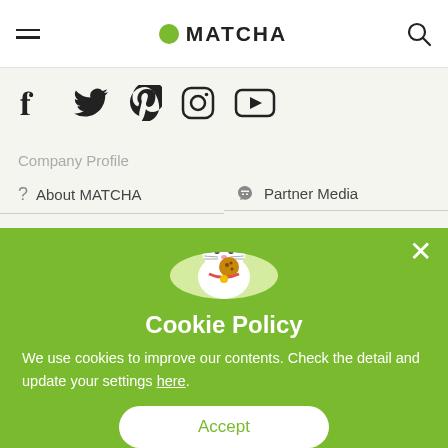MATCHA
[Figure (screenshot): Social media icons: Facebook, Twitter, Pinterest, Instagram, YouTube]
Company Profile
? About MATCHA
Partner Media
Cookie Policy
We use cookies to improve our contents. Check the detail and update your settings here.
Accept